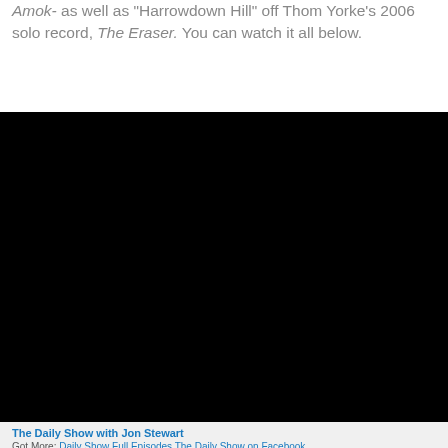Amok- as well as "Harrowdown Hill" off Thom Yorke's 2006 solo record, The Eraser. You can watch it all below.
[Figure (screenshot): Embedded video player showing a black screen (video content not visible)]
The Daily Show with Jon Stewart
Got More: Daily Show Full Episodes The Daily Show on Facebook